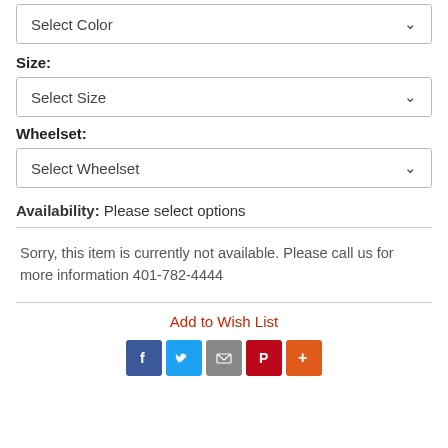Select Color (dropdown)
Size:
Select Size (dropdown)
Wheelset:
Select Wheelset (dropdown)
Availability: Please select options
Sorry, this item is currently not available. Please call us for more information 401-782-4444
Add to Wish List
[Figure (other): Social sharing icons: Facebook, Twitter, Email, Pinterest, More]